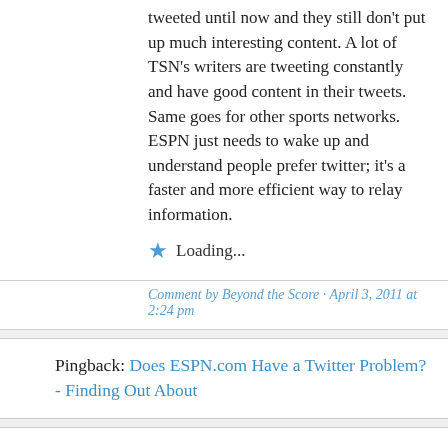tweeted until now and they still don't put up much interesting content. A lot of TSN's writers are tweeting constantly and have good content in their tweets. Same goes for other sports networks. ESPN just needs to wake up and understand people prefer twitter; it's a faster and more efficient way to relay information.
Loading...
Comment by Beyond the Score · April 3, 2011 at 2:24 pm
Pingback: Does ESPN.com Have a Twitter Problem? - Finding Out About
Pingback: Cuban missive: crisis or merely a-Twitter? | ChuckFinder.com
Full reaction and blog post here (with supporting images) http://ryanspoon.com/blog/2011/04/03/my-response-to-mark-cubans-does-espn-com-have-a-twitter-